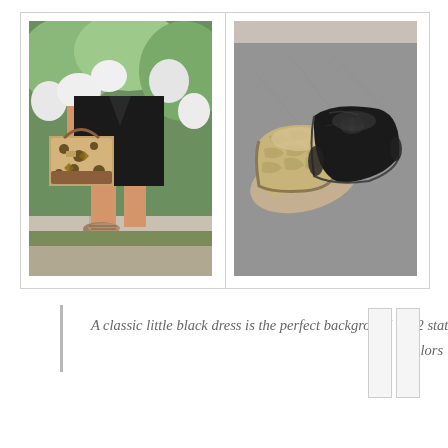[Figure (photo): Woman in black dress holding a leopard print handbag, standing outdoors near white flowers, wearing snake-print flat shoes]
[Figure (photo): Two loafer shoes on pavement — one tan/beige snakeskin print and one black]
A classic little black dress is the perfect background for 2 statement pieces! You can mix and match prints when the colors